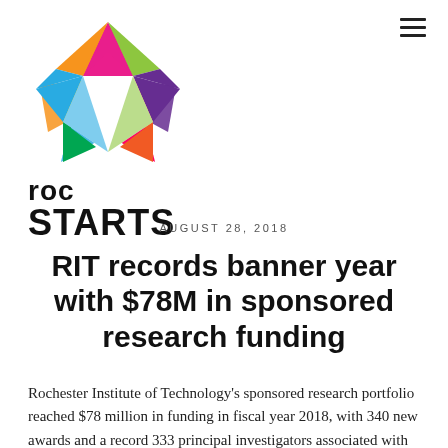[Figure (logo): ROC Starts colorful star logo with multicolored triangular segments forming a five-pointed star shape, followed by text 'roc STARTS' in bold black font below]
AUGUST 28, 2018
RIT records banner year with $78M in sponsored research funding
Rochester Institute of Technology's sponsored research portfolio reached $78 million in funding in fiscal year 2018, with 340 new awards and a record 333 principal investigators associated with active research awards.